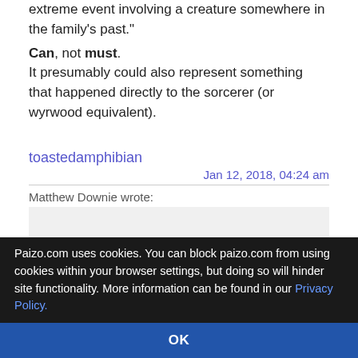extreme event involving a creature somewhere in the family's past."
Can, not must.
It presumably could also represent something that happened directly to the sorcerer (or wyrwood equivalent).
toastedamphibian
Jan 12, 2018, 04:24 am
Matthew Downie wrote:
It presumably could also represent something that happened directly to the sorcerer (or wyrwood equivalent).
Definitely.
Paizo.com uses cookies. You can block paizo.com from using cookies within your browser settings, but doing so will hinder site functionality. More information can be found in our Privacy Policy.
OK